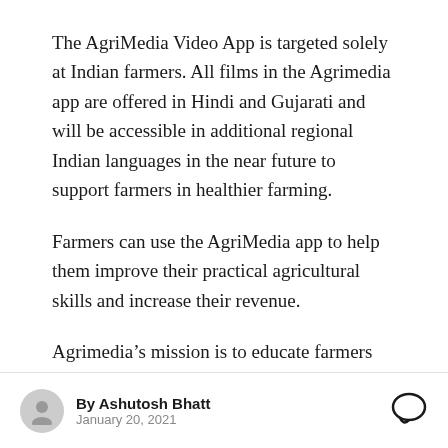The AgriMedia Video App is targeted solely at Indian farmers. All films in the Agrimedia app are offered in Hindi and Gujarati and will be accessible in additional regional Indian languages in the near future to support farmers in healthier farming.
Farmers can use the AgriMedia app to help them improve their practical agricultural skills and increase their revenue.
Agrimedia’s mission is to educate farmers by
By Ashutosh Bhatt
January 20, 2021